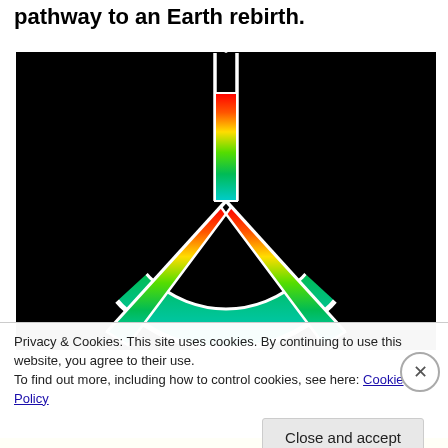pathway to an Earth rebirth.
[Figure (illustration): Rainbow-colored peace symbol on a black background. The circular peace sign is filled with a gradient going from red at the top through orange, yellow, green to cyan/teal at the bottom. The background is black. The symbol has a white border/outline.]
Privacy & Cookies: This site uses cookies. By continuing to use this website, you agree to their use.
To find out more, including how to control cookies, see here: Cookie Policy
Close and accept